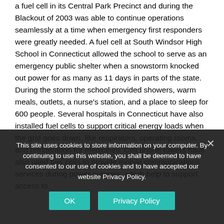a fuel cell in its Central Park Precinct and during the Blackout of 2003 was able to continue operations seamlessly at a time when emergency first responders were greatly needed. A fuel cell at South Windsor High School in Connecticut allowed the school to serve as an emergency public shelter when a snowstorm knocked out power for as many as 11 days in parts of the state. During the storm the school provided showers, warm meals, outlets, a nurse's station, and a place to sleep for 600 people. Several hospitals in Connecticut have also installed fuel cells to support critical energy loads when the grid goes down, like respirators, operating rooms, and refrigeration for medicines. Cell phone towers have also used fuel cells to provide mobile communications services during power outages, which help to support access to
This site uses cookies to store information on your computer. By continuing to use this website, you shall be deemed to have consented to our use of cookies and to have accepted our website Privacy Policy.
OK | Privacy Policy